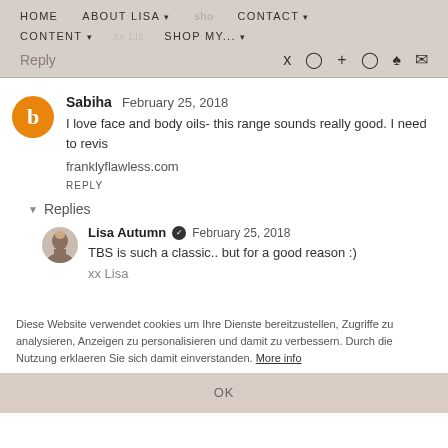HOME  ABOUT LISA  CONTACT  CONTENT  SHOP MY...
Reply
Sabiha  February 25, 2018
I love face and body oils- this range sounds really good. I need to revis
franklyflawless.com
REPLY
▾ Replies
Lisa Autumn ✔ February 25, 2018
TBS is such a classic.. but for a good reason :)
xx Lisa
Diese Website verwendet cookies um Ihre Dienste bereitzustellen, Zugriffe zu analysieren, Anzeigen zu personalisieren und damit zu verbessern. Durch die Nutzung erklaeren Sie sich damit einverstanden. More info
OK